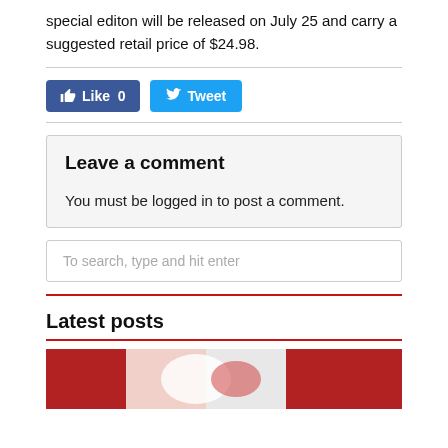special editon will be released on July 25 and carry a suggested retail price of $24.98.
[Figure (other): Facebook Like button (0 likes) and Twitter Tweet button]
Leave a comment
You must be logged in to post a comment.
To search, type and hit enter
Latest posts
[Figure (photo): Photo showing red and white fabric or textile pattern]